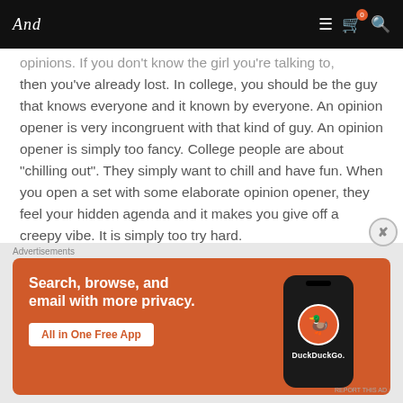And [logo] — navigation bar with menu, cart, and search icons
opinions. If you don't know the girl you're talking to, then you've already lost. In college, you should be the guy that knows everyone and it known by everyone. An opinion opener is very incongruent with that kind of guy. An opinion opener is simply too fancy. College people are about "chilling out". They simply want to chill and have fun. When you open a set with some elaborate opinion opener, they feel your hidden agenda and it makes you give off a creepy vibe. It is simply too try hard.
[Figure (screenshot): DuckDuckGo advertisement banner with orange background. Text reads: 'Search, browse, and email with more privacy. All in One Free App'. Shows a phone mockup with DuckDuckGo logo.]